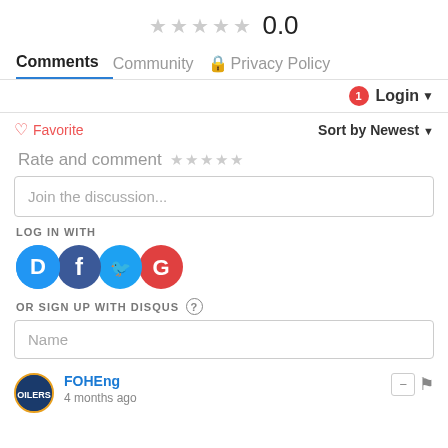★★★★★ 0.0
Comments | Community | 🔒 Privacy Policy
1 Login ▾
♡ Favorite   Sort by Newest ▾
Rate and comment ★★★★★
Join the discussion...
LOG IN WITH
[Figure (logo): Social login icons: Disqus (D), Facebook (f), Twitter bird, Google (G)]
OR SIGN UP WITH DISQUS ?
Name
FOHEng
4 months ago